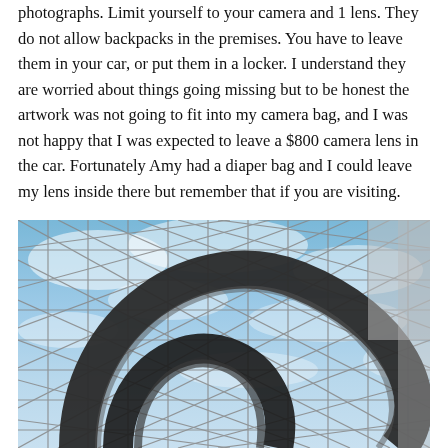photographs. Limit yourself to your camera and 1 lens. They do not allow backpacks in the premises. You have to leave them in your car, or put them in a locker. I understand they are worried about things going missing but to be honest the artwork was not going to fit into my camera bag, and I was not happy that I was expected to leave a $800 camera lens in the car. Fortunately Amy had a diaper bag and I could leave my lens inside there but remember that if you are visiting.
[Figure (photo): Looking up through a geodesic glass dome with triangular metal-framed panes showing blue cloudy sky. In the foreground is a large dark curved sculptural spiral or ring shape (a staircase railing or abstract sculpture).]